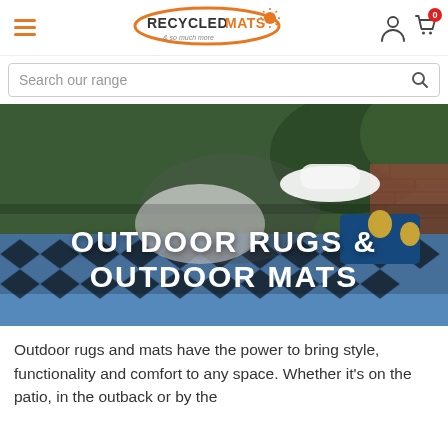RecycledMats & so much more — navigation header with hamburger menu, logo, user icon, and cart icon
Search our range
[Figure (photo): Woman wearing a white sun hat and black-and-white striped dress lying on a blue patterned outdoor mat on grass, with text overlay reading OUTDOOR RUGS & OUTDOOR MATS]
Outdoor rugs and mats have the power to bring style, functionality and comfort to any space. Whether it's on the patio, in the outback or by the